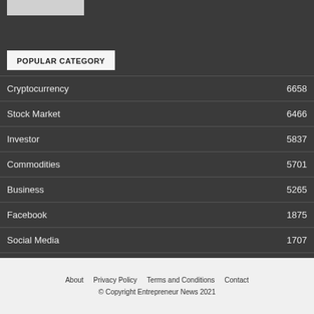[Figure (logo): Logo placeholder rectangle]
POPULAR CATEGORY
Cryptocurrency 6658
Stock Market 6466
Investor 5837
Commodities 5701
Business 5265
Facebook 1875
Social Media 1707
About   Privacy Policy   Terms and Conditions   Contact
© Copyright Entrepreneur News 2021